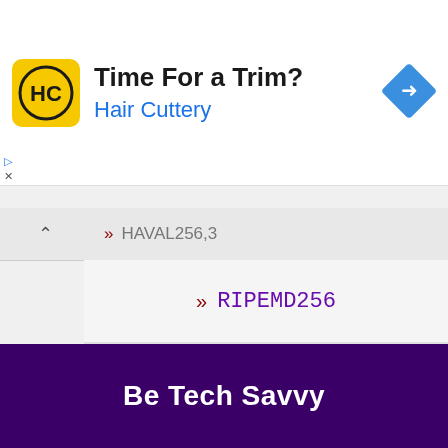[Figure (infographic): Advertisement banner for Hair Cuttery salon. Shows HC logo in yellow square, title 'Time For a Trim?', subtitle 'Hair Cuttery' in blue, and a blue diamond navigation icon on the right.]
» HAVAL256,3
» RIPEMD256
» Tiger192,3
» More...
Be Tech Savvy